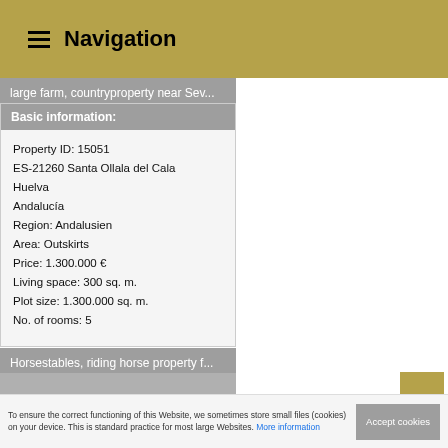Navigation
large farm, countryproperty near Sev...
Basic information:
Property ID: 15051
ES-21260 Santa Ollala del Cala
Huelva
Andalucía
Region: Andalusien
Area: Outskirts
Price: 1.300.000 €
Living space: 300 sq. m.
Plot size: 1.300.000 sq. m.
No. of rooms: 5
Horsestables, riding horse property f...
[Figure (photo): Property image placeholder (grey)]
To ensure the correct functioning of this Website, we sometimes store small files (cookies) on your device. This is standard practice for most large Websites. More information